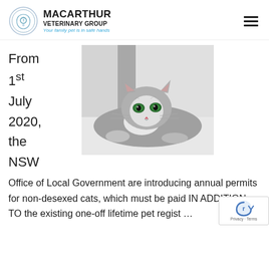MACARTHUR VETERINARY GROUP — Your family pet is in safe hands
From
1st
July
2020,
the
NSW
[Figure (photo): A long-haired grey and white cat with green eyes, lying down and looking at the camera.]
Office of Local Government are introducing annual permits for non-desexed cats, which must be paid IN ADDITION TO the existing one-off lifetime pet regist…